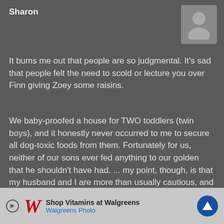Sharon
It bums me out that people are so judgmental. It's sad that people felt the need to scold or lecture you over Finn giving Zoey some raisins.
We baby-proofed a house for TWO toddlers (twin boys), and it honestly never occurred to me to secure all dog-toxic foods from them. Fortunately for us, neither of our sons ever fed anything to our golden that he shouldn't have had. ... my point, though, is that my husband and I are more than usually cautious, and that never crossed our minds.
Anyway. Glad Zoey is doing OK, and obviously lesson learned
[Figure (other): Walgreens advertisement banner: Shop Vitamins at Walgreens, Walgreens Photo]